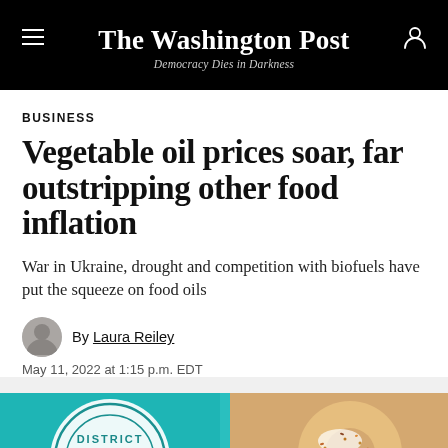The Washington Post — Democracy Dies in Darkness
BUSINESS
Vegetable oil prices soar, far outstripping other food inflation
War in Ukraine, drought and competition with biofuels have put the squeeze on food oils
By Laura Reiley
May 11, 2022 at 1:15 p.m. EDT
[Figure (photo): District Doughnut and Coffee signage with a glazed donut topped with lemon slice on teal background]